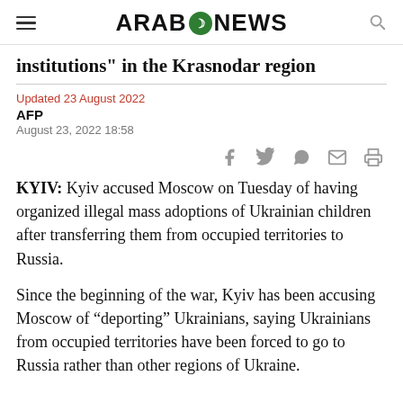ARAB NEWS
institutions" in the Krasnodar region
Updated 23 August 2022
AFP
August 23, 2022 18:58
[Figure (other): Social share icons: Facebook, Twitter, WhatsApp, Email, Print]
KYIV: Kyiv accused Moscow on Tuesday of having organized illegal mass adoptions of Ukrainian children after transferring them from occupied territories to Russia.
Since the beginning of the war, Kyiv has been accusing Moscow of “deporting” Ukrainians, saying Ukrainians from occupied territories have been forced to go to Russia rather than other regions of Ukraine.